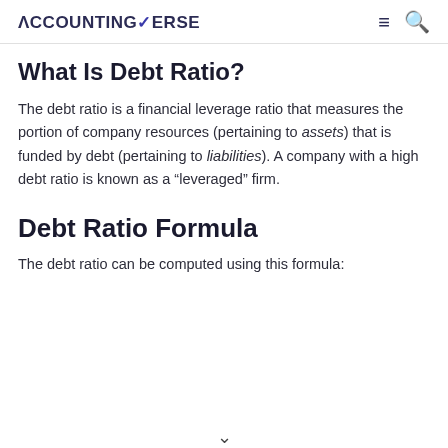ACCOUNTINGVERSE
What Is Debt Ratio?
The debt ratio is a financial leverage ratio that measures the portion of company resources (pertaining to assets) that is funded by debt (pertaining to liabilities). A company with a high debt ratio is known as a “leveraged” firm.
Debt Ratio Formula
The debt ratio can be computed using this formula: